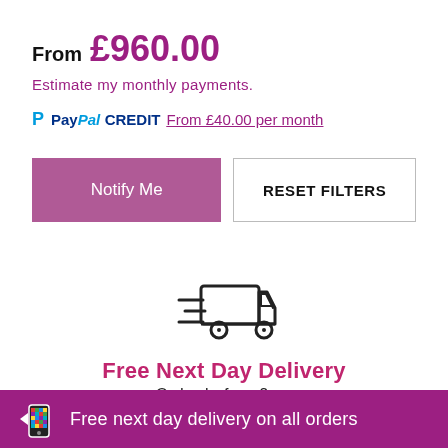From £960.00
Estimate my monthly payments.
PayPal CREDIT From £40.00 per month
Notify Me
RESET FILTERS
[Figure (illustration): Delivery truck icon with speed lines]
Free Next Day Delivery
Order before 2pm
Free next day delivery on all orders